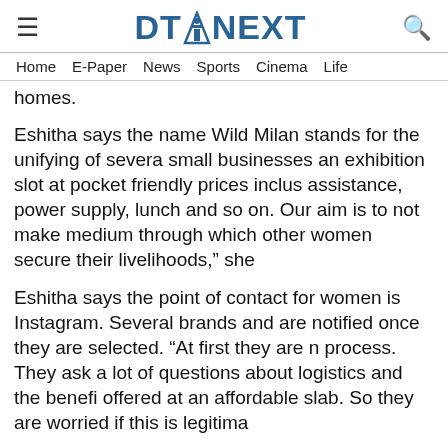DT NEXT
Home   E-Paper   News   Sports   Cinema   Life
homes.
Eshitha says the name Wild Milan stands for the unifying of severa small businesses an exhibition slot at pocket friendly prices inclu assistance, power supply, lunch and so on. Our aim is to not make medium through which other women secure their livelihoods," she
Eshitha says the point of contact for women is Instagram. Several brands and are notified once they are selected. "At first they are n process. They ask a lot of questions about logistics and the benefi offered at an affordable slab. So they are worried if this is legitima
Talking about the challenges Wild Milan faces, she says, "Honestly venture, we don't face any challenges financially. Although there a pockets. But, the only way these women get any sort of traction is